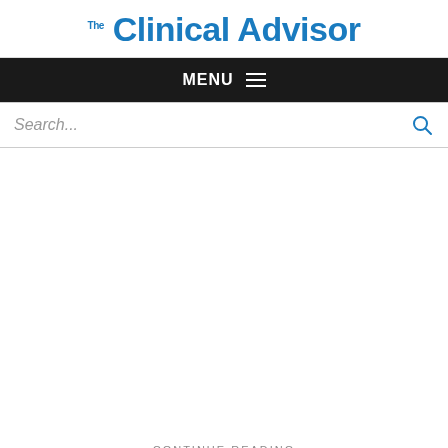Clinical Advisor
MENU
Search...
CONTINUE READING
Today's top picks on the Haymarket Medical Network
Repeat Dosing of Evusheld Recommended for